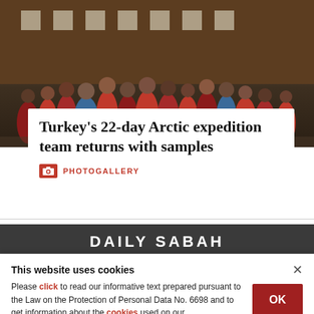[Figure (photo): Group photo of Turkey's Arctic expedition team standing in front of a dark wooden building, most wearing red jackets and outdoor gear.]
Turkey's 22-day Arctic expedition team returns with samples
PHOTOGALLERY
DAILY SABAH
This website uses cookies
Please click to read our informative text prepared pursuant to the Law on the Protection of Personal Data No. 6698 and to get information about the cookies used on our